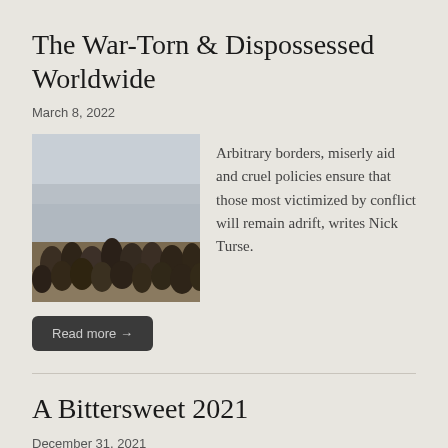The War-Torn & Dispossessed Worldwide
March 8, 2022
[Figure (photo): Large crowd of people packed together in an outdoor setting, hazy background]
Arbitrary borders, miserly aid and cruel policies ensure that those most victimized by conflict will remain adrift, writes Nick Turse.
Read more →
A Bittersweet 2021
December 31, 2021
Translate »
There have been immense victories and